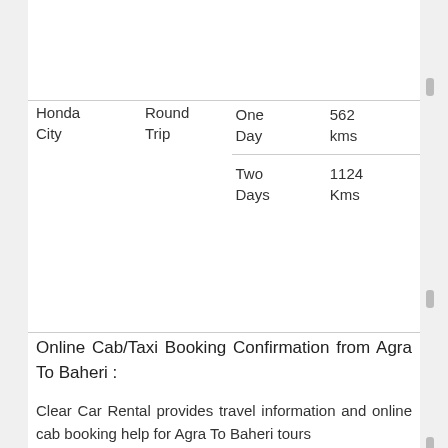| Car | Trip Type | Duration | Distance |
| --- | --- | --- | --- |
| Honda City | Round Trip | One Day | 562 kms |
|  |  | Two Days | 1124 Kms |
Online Cab/Taxi Booking Confirmation from Agra To Baheri :
Clear Car Rental provides travel information and online cab booking help for Agra To Baheri tours